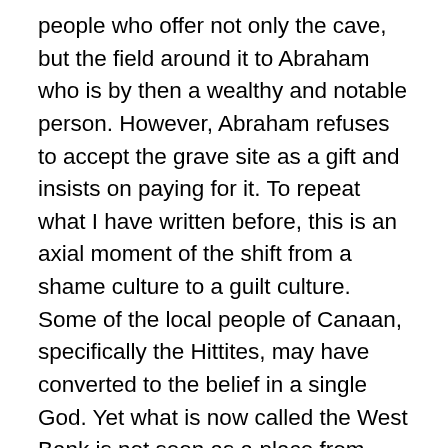people who offer not only the cave, but the field around it to Abraham who is by then a wealthy and notable person. However, Abraham refuses to accept the grave site as a gift and insists on paying for it. To repeat what I have written before, this is an axial moment of the shift from a shame culture to a guilt culture. Some of the local people of Canaan, specifically the Hittites, may have converted to the belief in a single God. Yet what is now called the West Bank is not seen as a place from which a proper wife can be found for Isaac. Isaac is not allowed to have a bride from the local people. The locals, even when they have adopted the beliefs of the Hebrews, are not into a contractual system. They look askance at getting 400 shekels from Abraham for the burial site. Ephron initially treats the offer as an insult. But Abraham insists on paying the money. He wants a contract, a quid pro quo. With